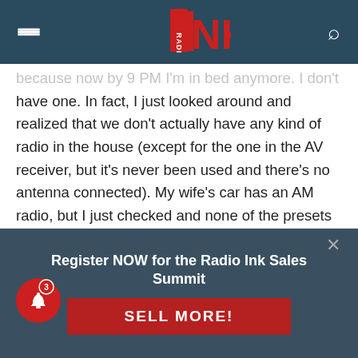Radio Ink — header with hamburger menu, logo, and search icon
because now by 9 PM I'm in bed anymore. I don't have one. In fact, I just looked around and realized that we don't actually have any kind of radio in the house (except for the one in the AV receiver, but it's never been used and there's no antenna connected). My wife's car has an AM radio, but I just checked and none of the presets were programmed.
In case you hadn't noticed, Americans get their information from smartphones. In an emergency, they look at Twitter. Nobody listens to the radio.
Register NOW for the Radio Ink Sales Summit